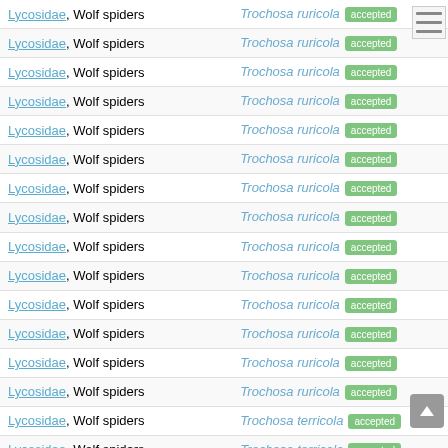| Family | Accepted name |
| --- | --- |
| Lycosidae, Wolf spiders | Trochosa ruricola accepted |
| Lycosidae, Wolf spiders | Trochosa ruricola accepted |
| Lycosidae, Wolf spiders | Trochosa ruricola accepted |
| Lycosidae, Wolf spiders | Trochosa ruricola accepted |
| Lycosidae, Wolf spiders | Trochosa ruricola accepted |
| Lycosidae, Wolf spiders | Trochosa ruricola accepted |
| Lycosidae, Wolf spiders | Trochosa ruricola accepted |
| Lycosidae, Wolf spiders | Trochosa ruricola accepted |
| Lycosidae, Wolf spiders | Trochosa ruricola accepted |
| Lycosidae, Wolf spiders | Trochosa ruricola accepted |
| Lycosidae, Wolf spiders | Trochosa ruricola accepted |
| Lycosidae, Wolf spiders | Trochosa ruricola accepted |
| Lycosidae, Wolf spiders | Trochosa ruricola accepted |
| Lycosidae, Wolf spiders | Trochosa ruricola accepted |
| Lycosidae, Wolf spiders | Trochosa terricola accepted |
| Lycosidae, Wolf spiders | Trochosa terricola accepted |
| Lycosidae, Wolf spiders | Trochosa terricola accepted |
| Lycosidae, Wolf spiders | Trochosa terricola accepted |
| Lycosidae, Wolf spiders | Trochosa terricola accepted |